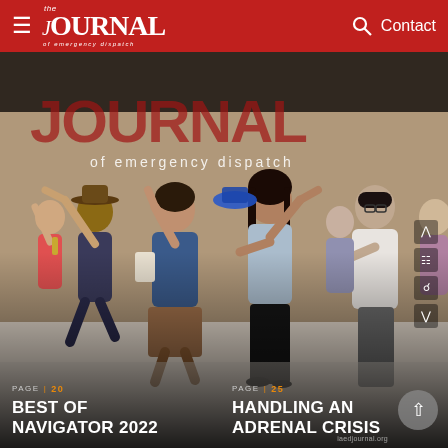the JOURNAL of emergency dispatch | Contact
[Figure (photo): People dancing at what appears to be the Navigator 2022 conference event. Multiple people are on a dance floor with arms raised, wearing casual and semi-formal attire. The Journal of Emergency Dispatch logo is visible in the background.]
PAGE | 20
BEST OF NAVIGATOR 2022
PAGE | 25
HANDLING AN ADRENAL CRISIS
iaedjournal.org